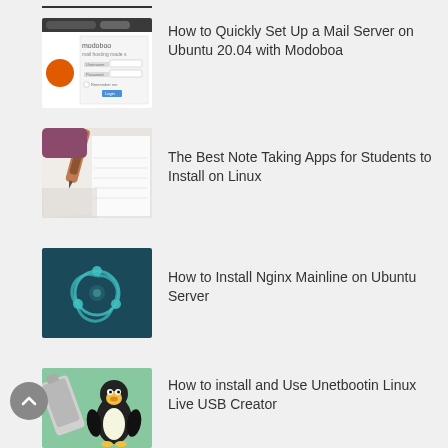[Figure (screenshot): Truncated thumbnail at top of page showing a dark browser interface]
[Figure (screenshot): Screenshot of Modoboa mail server setup interface with login form]
How to Quickly Set Up a Mail Server on Ubuntu 20.04 with Modoboa
[Figure (photo): Person writing in an open notebook with a pen, warm lighting]
The Best Note Taking Apps for Students to Install on Linux
[Figure (illustration): Dark teal background with Ubuntu circular logo glowing in white/cyan]
How to Install Nginx Mainline on Ubuntu Server
[Figure (illustration): Light green background with Linux Tux penguin mascot and USB creator tools illustration]
How to install and Use Unetbootin Linux Live USB Creator